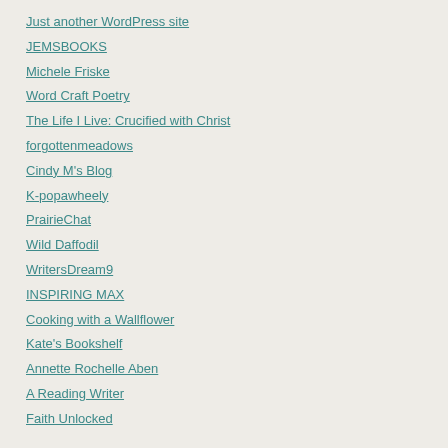Just another WordPress site
JEMSBOOKS
Michele Friske
Word Craft Poetry
The Life I Live: Crucified with Christ
forgottenmeadows
Cindy M's Blog
K-popawheely
PrairieChat
Wild Daffodil
WritersDream9
INSPIRING MAX
Cooking with a Wallflower
Kate's Bookshelf
Annette Rochelle Aben
A Reading Writer
Faith Unlocked